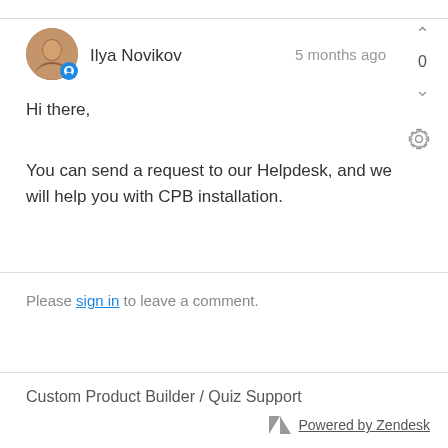Ilya Novikov · 5 months ago
Hi there,
You can send a request to our Helpdesk, and we will help you with CPB installation.
Please sign in to leave a comment.
Custom Product Builder / Quiz Support
Powered by Zendesk